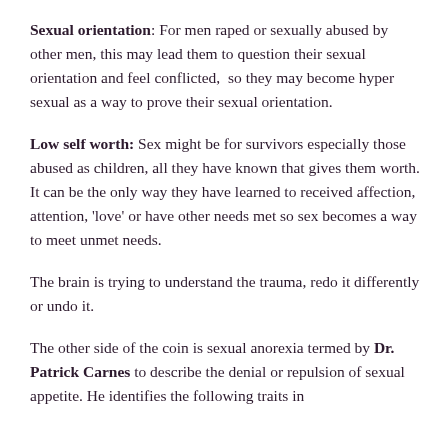Sexual orientation: For men raped or sexually abused by other men, this may lead them to question their sexual orientation and feel conflicted,  so they may become hyper sexual as a way to prove their sexual orientation.
Low self worth: Sex might be for survivors especially those abused as children, all they have known that gives them worth. It can be the only way they have learned to received affection, attention, 'love' or have other needs met so sex becomes a way to meet unmet needs.
The brain is trying to understand the trauma, redo it differently or undo it.
The other side of the coin is sexual anorexia termed by Dr. Patrick Carnes to describe the denial or repulsion of sexual appetite. He identifies the following traits in